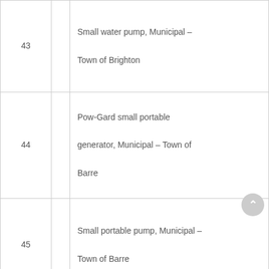| # |  | Description |
| --- | --- | --- |
| 43 |  | Small water pump, Municipal – Town of Brighton |
| 44 |  | Pow-Gard small portable generator, Municipal – Town of Barre |
| 45 |  | Small portable pump, Municipal – Town of Barre |
| 46 |  | Aierans 624 walk behind 24" snowblower, Municipal – Town of Perinton |
|  |  |  |